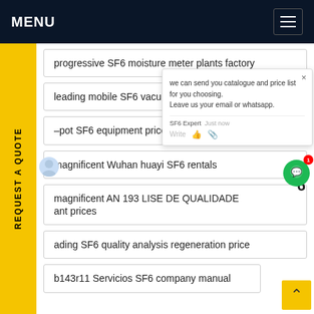MENU
progressive SF6 moisture meter plants factory
leading mobile SF6 vacuum manufacturers
–pot SF6 equipment price
magnificent Wuhan huayi SF6 rentals
magnificent AN 193 LISE DE QUALIDADE ant prices
ading SF6 quality analysis regeneration price
b143r11 Servicios SF6 company manual
[Figure (screenshot): Chat popup with SF6 Expert offering catalogue and price list, asking user to leave email or whatsapp. Shows Write field with like and attachment icons. Green chat bubble icon with red badge showing 1.]
REQUEST A QUOTE